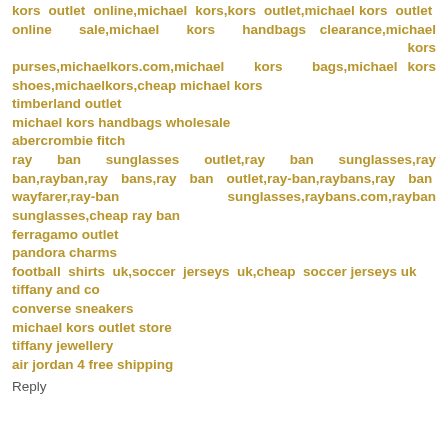kors outlet online,michael kors,kors outlet,michael kors outlet online sale,michael kors handbags clearance,michael kors purses,michaelkors.com,michael kors bags,michael kors shoes,michaelkors,cheap michael kors
timberland outlet
michael kors handbags wholesale
abercrombie fitch
ray ban sunglasses outlet,ray ban sunglasses,ray ban,rayban,ray bans,ray ban outlet,ray-ban,raybans,ray ban wayfarer,ray-ban sunglasses,raybans.com,rayban sunglasses,cheap ray ban
ferragamo outlet
pandora charms
football shirts uk,soccer jerseys uk,cheap soccer jerseys uk
tiffany and co
converse sneakers
michael kors outlet store
tiffany jewellery
air jordan 4 free shipping
Reply